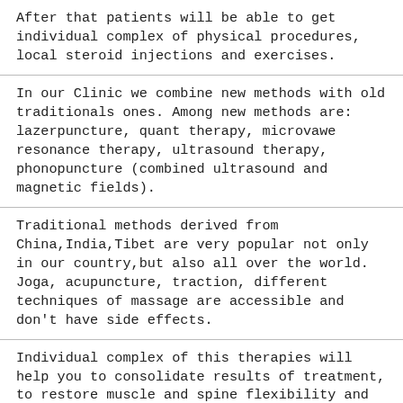After that patients will be able to get individual complex of physical procedures, local steroid injections and exercises.
In our Clinic we combine new methods with old traditionals ones. Among new methods are: lazerpuncture, quant therapy, microvawe resonance therapy, ultrasound therapy, phonopuncture (combined ultrasound and magnetic fields).
Traditional methods derived from China,India,Tibet are very popular not only in our country,but also all over the world. Joga, acupuncture, traction, different techniques of massage are accessible and don't have side effects.
Individual complex of this therapies will help you to consolidate results of treatment, to restore muscle and spine flexibility and strenght.
During being here you will be instructed by scilled physical therapists.
We hope you'll enjoy visiting us!